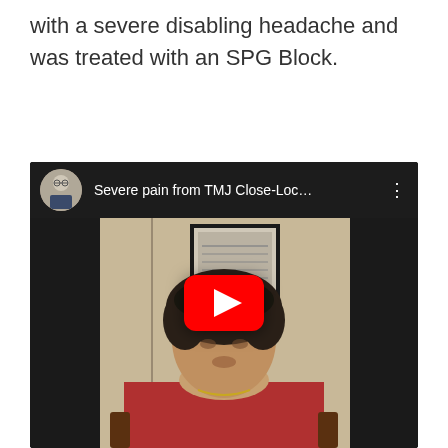with a severe disabling headache and was treated with an SPG Block.
[Figure (screenshot): YouTube video thumbnail showing a patient testimonial video titled 'Severe pain from TMJ Close-Loc...' with a play button overlay. A woman in a red top is seated, with a framed document on the wall behind her. A doctor's circular avatar appears in the top bar.]